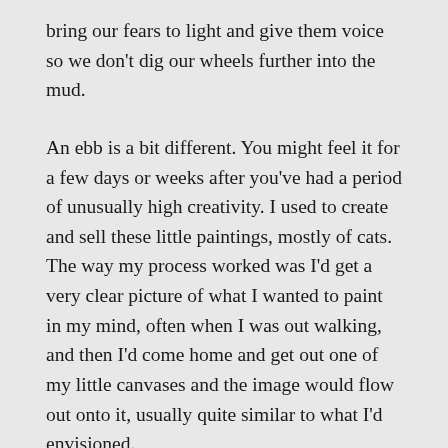bring our fears to light and give them voice so we don't dig our wheels further into the mud.
An ebb is a bit different. You might feel it for a few days or weeks after you've had a period of unusually high creativity. I used to create and sell these little paintings, mostly of cats. The way my process worked was I'd get a very clear picture of what I wanted to paint in my mind, often when I was out walking, and then I'd come home and get out one of my little canvases and the image would flow out onto it, usually quite similar to what I'd envisioned.
For a period of time, I did about three of these paintings a week. And the more people bought them the more I wanted to create them. But after about